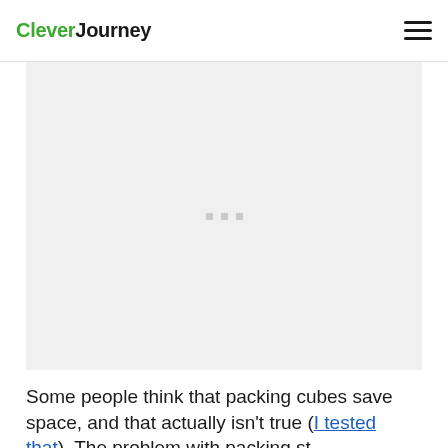CleverJourney
[Figure (photo): A large light gray placeholder image area with three small gray squares in the center, representing an image that has not loaded.]
Some people think that packing cubes save space, and that actually isn't true (I tested that). The problem with packing stuff...